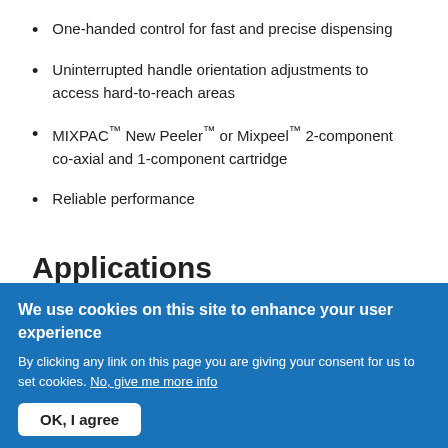One-handed control for fast and precise dispensing
Uninterrupted handle orientation adjustments to access hard-to-reach areas
MIXPAC™ New Peeler™ or Mixpeel™ 2-component co-axial and 1-component cartridge
Reliable performance
Applications
We use cookies on this site to enhance your user experience
By clicking any link on this page you are giving your consent for us to set cookies. No, give me more info
OK, I agree